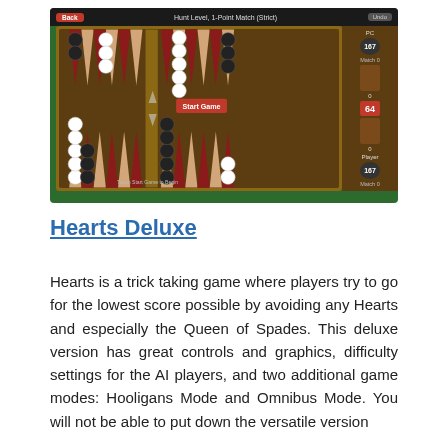[Figure (screenshot): Screenshot of a backgammon game app showing a wooden backgammon board with black and white pieces, a 'Start Game' button in the center, navigation bar at top with 'Back' button and 'Hunt Level, 1-Point Match (Strict)' title, sidebar showing PC score 167, doubling cube at 64, Player score 167, and match scores.]
Hearts Deluxe
Hearts is a trick taking game where players try to go for the lowest score possible by avoiding any Hearts and especially the Queen of Spades. This deluxe version has great controls and graphics, difficulty settings for the AI players, and two additional game modes: Hooligans Mode and Omnibus Mode. You will not be able to put down the versatile version